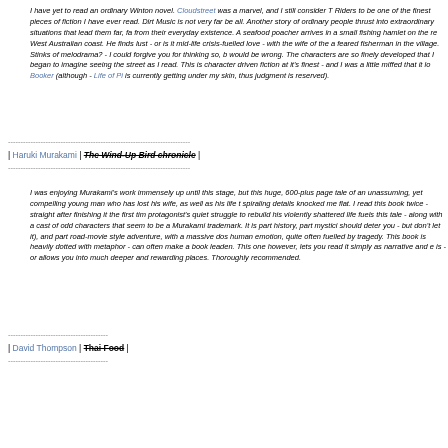I have yet to read an ordinary Winton novel. Cloudstreet was a marvel, and I still consider T Riders to be one of the finest pieces of fiction I have ever read. Dirt Music is not very far be all. Another story of ordinary people thrust into extraordinary situations that lead them far, fa from their everyday existence. A seafood poacher arrives in a small fishing hamlet on the re West Australian coast. He finds lust - or is it mid-life crisis-fuelled love - with the wife of the feared fisherman in the village. Stinks of melodrama? - I could forgive you for thinking so, b would be wrong. The characters are so finely developed that I began to imagine seeing the street as I read. This is character driven fiction at it's finest - and I was a little miffed that it l Booker (although - Life of Pi is currently getting under my skin, thus judgment is reserved).
| Haruki Murakami | The Wind-Up Bird chronicle |
I was enjoying Murakami's work immensely up until this stage, but this huge, 600-plus page tale of an unassuming, yet compelling young man who has lost his wife, as well as his life t spiraling details knocked me flat. I read this book twice - straight after finishing it the first tim protagonist's quiet struggle to rebuild his violently shattered life fuels this tale - along with a cast of odd characters that seem to be a Murakami trademark. It is part history, part mystici should deter you - but don't let it), and part road-movie style adventure, with a massive dos human emotion, quite often fuelled by tragedy. This book is heavily dotted with metaphor - can often make a book leaden. This one however, lets you read it simply as narrative and e is - or allows you into much deeper and rewarding places. Thoroughly recommended.
| David Thompson | Thai Food |